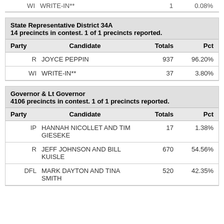| Party | Candidate | Totals | Pct |
| --- | --- | --- | --- |
| WI | WRITE-IN** | 1 | 0.08% |
| Party | Candidate | Totals | Pct |
| --- | --- | --- | --- |
|  | State Representative District 34A
14 precincts in contest. 1 of 1 precincts reported. |  |  |
| R | JOYCE PEPPIN | 937 | 96.20% |
| WI | WRITE-IN** | 37 | 3.80% |
| Party | Candidate | Totals | Pct |
| --- | --- | --- | --- |
|  | Governor & Lt Governor
4106 precincts in contest. 1 of 1 precincts reported. |  |  |
| IP | HANNAH NICOLLET AND TIM GIESEKE | 17 | 1.38% |
| R | JEFF JOHNSON AND BILL KUISLE | 670 | 54.56% |
| DFL | MARK DAYTON AND TINA SMITH | 520 | 42.35% |